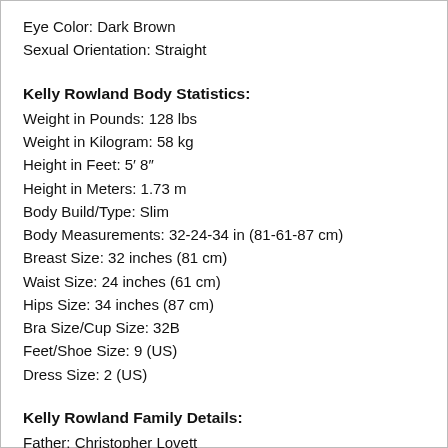Eye Color: Dark Brown
Sexual Orientation: Straight
Kelly Rowland Body Statistics:
Weight in Pounds: 128 lbs
Weight in Kilogram: 58 kg
Height in Feet: 5′ 8″
Height in Meters: 1.73 m
Body Build/Type: Slim
Body Measurements: 32-24-34 in (81-61-87 cm)
Breast Size: 32 inches (81 cm)
Waist Size: 24 inches (61 cm)
Hips Size: 34 inches (87 cm)
Bra Size/Cup Size: 32B
Feet/Shoe Size: 9 (US)
Dress Size: 2 (US)
Kelly Rowland Family Details:
Father: Christopher Lovett
Mother: Doris Rowland Garrison